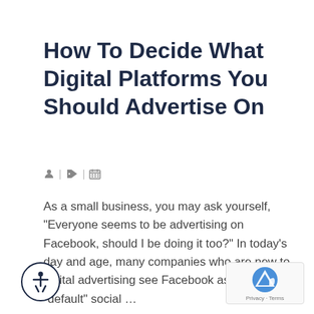How To Decide What Digital Platforms You Should Advertise On
[Figure (infographic): Meta icons row: person icon, category/tag icon with separator bars, calendar/grid icon]
As a small business, you may ask yourself, “Everyone seems to be advertising on Facebook, should I be doing it too?” In today’s day and age, many companies who are new to digital advertising see Facebook as the “default” social …
Read More
[Figure (illustration): Accessibility icon: circle with person figure (wheelchair accessible symbol style)]
[Figure (logo): reCAPTCHA badge with Google reCAPTCHA logo and Privacy · Terms text]